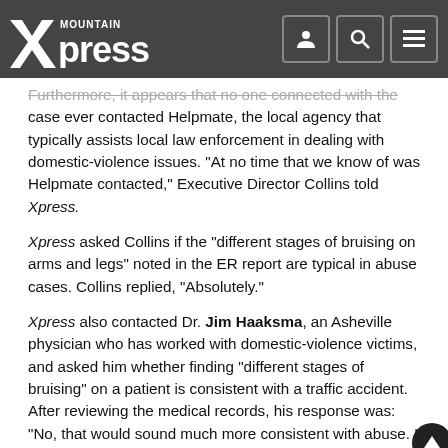Mountain Xpress
Furthermore, it appears that no one connected with the case ever contacted Helpmate, the local agency that typically assists local law enforcement in dealing with domestic-violence issues. “At no time that we know of was Helpmate contacted,” Executive Director Collins told Xpress.
Xpress asked Collins if the “different stages of bruising on arms and legs” noted in the ER report are typical in abuse cases. Collins replied, “Absolutely.”
Xpress also contacted Dr. Jim Haaksma, an Asheville physician who has worked with domestic-violence victims, and asked him whether finding “different stages of bruising” on a patient is consistent with a traffic accident. After reviewing the medical records, his response was: “No, that would sound much more consistent with abuse. I assume the medical personnel involved would contact Helpmate in a case like this.” When informed that Helpmate had not been called, he...